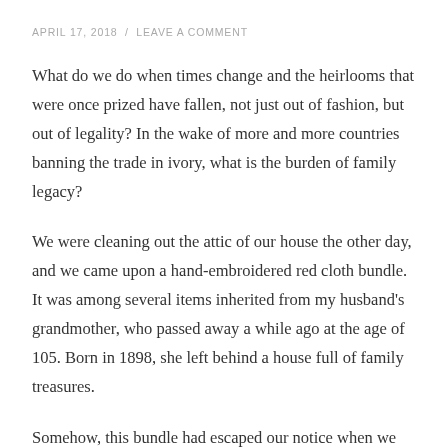APRIL 17, 2018  /  LEAVE A COMMENT
What do we do when times change and the heirlooms that were once prized have fallen, not just out of fashion, but out of legality? In the wake of more and more countries banning the trade in ivory, what is the burden of family legacy?
We were cleaning out the attic of our house the other day, and we came upon a hand-embroidered red cloth bundle. It was among several items inherited from my husband's grandmother, who passed away a while ago at the age of 105. Born in 1898, she left behind a house full of family treasures.
Somehow, this bundle had escaped our notice when we unpacked the house. We unwrapped the thick felt cloth